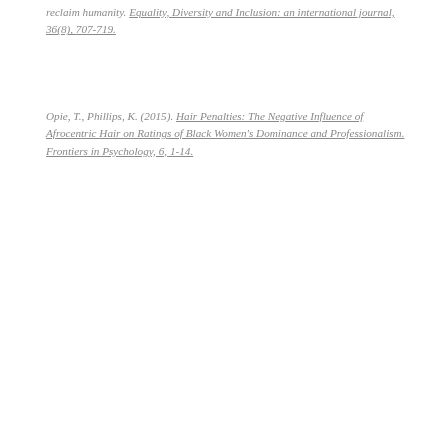reclaim humanity. Equality, Diversity and Inclusion: an international journal, 36(8), 707-719.
Opie, T., Phillips, K. (2015). Hair Penalties: The Negative Influence of Afrocentric Hair on Ratings of Black Women's Dominance and Professionalism. Frontiers in Psychology, 6, 1-14.